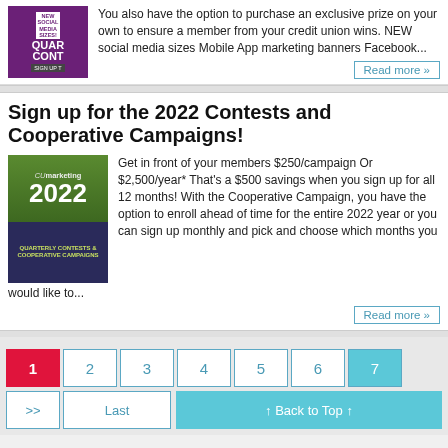[Figure (illustration): Purple banner with NEW SOCIAL MEDIA SIZES text and SIGN UP button, and QUART CONT text visible]
You also have the option to purchase an exclusive prize on your own to ensure a member from your credit union wins. NEW social media sizes Mobile App marketing banners Facebook...
Read more »
Sign up for the 2022 Contests and Cooperative Campaigns!
[Figure (illustration): CU Marketing 2022 Quarterly Contests & Cooperative Campaigns promotional image with green and purple background]
Get in front of your members $250/campaign Or $2,500/year* That's a $500 savings when you sign up for all 12 months! With the Cooperative Campaign, you have the option to enroll ahead of time for the entire 2022 year or you can sign up monthly and pick and choose which months you would like to...
Read more »
1
2
3
4
5
6
7
>>
Last
↑ Back to Top ↑